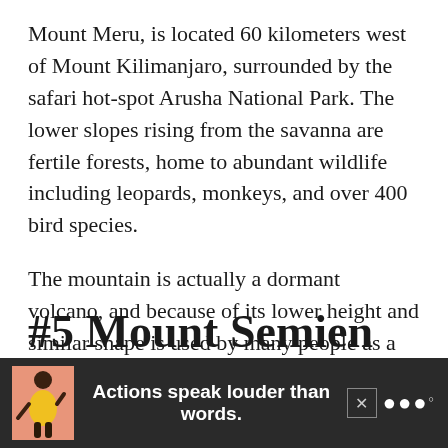Mount Meru, is located 60 kilometers west of Mount Kilimanjaro, surrounded by the safari hot-spot Arusha National Park. The lower slopes rising from the savanna are fertile forests, home to abundant wildlife including leopards, monkeys, and over 400 bird species.
The mountain is actually a dormant volcano, and because of its lower height and similar shape is used by many people as a warm-up before attempting to summit Mount Kilimanjaro.
#5 Mount Semien
[Figure (infographic): Advertisement banner at bottom of page showing a person figure, text 'Actions speak louder than words.' in white on dark background, a close button X, and a logo with dots.]